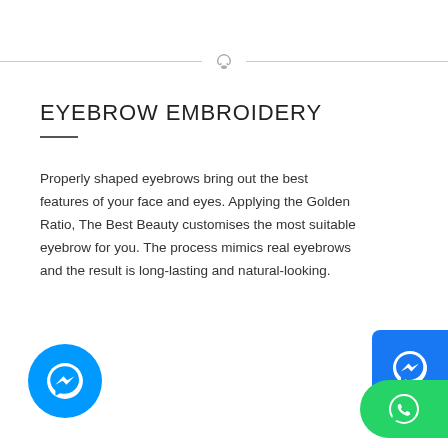[Figure (illustration): Decorative horizontal divider with a small ornamental icon in the center and horizontal lines on either side]
EYEBROW EMBROIDERY
Properly shaped eyebrows bring out the best features of your face and eyes. Applying the Golden Ratio, The Best Beauty customises the most suitable eyebrow for you. The process mimics real eyebrows and the result is long-lasting and natural-looking.
[Figure (logo): Facebook Messenger icon button (blue rounded square) on the right side]
[Figure (logo): Facebook Messenger icon button (blue circle) on the bottom left]
[Figure (logo): WhatsApp icon button (green rounded pill) on the bottom right]